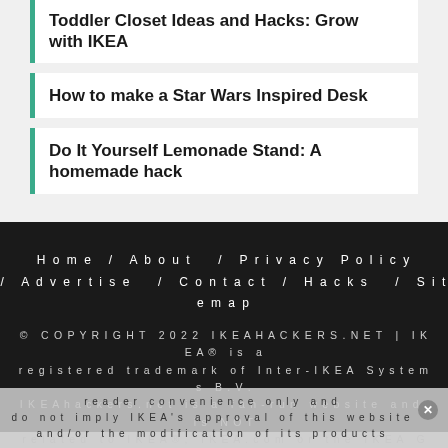Toddler Closet Ideas and Hacks: Grow with IKEA
How to make a Star Wars Inspired Desk
Do It Yourself Lemonade Stand: A homemade hack
Home / About / Privacy Policy / Advertise / Contact / Hacks / Sitemap
© COPYRIGHT 2022 IKEAHACKERS.NET | IKEA® is a registered trademark of Inter-IKEA Systems B.V. IKEAhackers.net is a fan-run website and is NOT related to IKEA®, IKEA.com or the IKEA Group. Any and all links to IKEA.com are presented for reader convenience only and do not imply IKEA's approval of this website and/or the modification of its products.